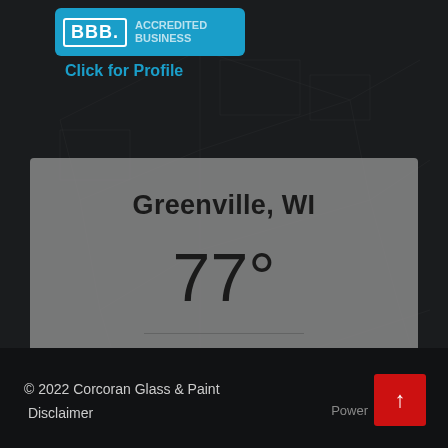[Figure (logo): BBB Accredited Business badge in blue with 'Click for Profile' text below]
Click for Profile
Greenville, WI
77°
SCATTERED CLOUDS
© 2022 Corcoran Glass & Paint
Disclaimer
Powered by [up arrow button]